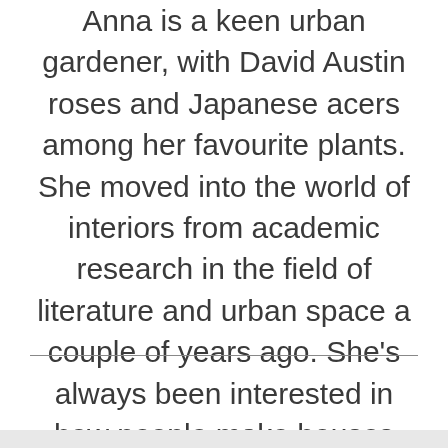Anna is a keen urban gardener, with David Austin roses and Japanese acers among her favourite plants. She moved into the world of interiors from academic research in the field of literature and urban space a couple of years ago. She's always been interested in how people make houses into homes, and how our concepts of what's stylish change over time.